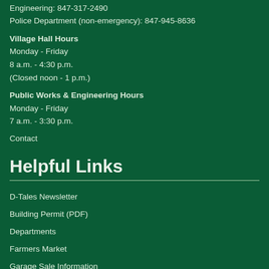Engineering: 847-317-2490
Police Department (non-emergency): 847-945-8636
Village Hall Hours
Monday - Friday
8 a.m. - 4:30 p.m.
(Closed noon - 1 p.m.)
Public Works & Engineering Hours
Monday - Friday
7 a.m. - 3:30 p.m.
Contact
Helpful Links
D-Tales Newsletter
Building Permit (PDF)
Departments
Farmers Market
Garage Sale Information